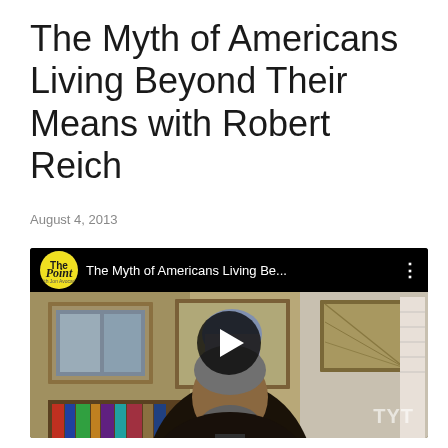The Myth of Americans Living Beyond Their Means with Robert Reich
August 4, 2013
[Figure (screenshot): Embedded YouTube video player showing 'The Myth of Americans Living Be...' with The Point logo (yellow circle), a play button overlay on a thumbnail of Robert Reich speaking in an office, and TYT watermark in bottom right]